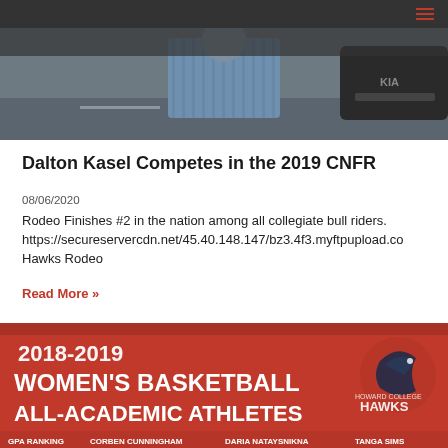≡
[Figure (photo): Hero image showing a person in a blue striped shirt standing near a vehicle, in a parking or outdoor area, grayscale/desaturated tones.]
Dalton Kasel Competes in the 2019 CNFR
08/06/2020
Rodeo Finishes #2 in the nation among all collegiate bull riders. https://secureservercdn.net/45.40.148.147/bz3.4f3.myftpupload.co Hawks Rodeo
Read More »
[Figure (photo): Red banner graphic reading '2018-2019 Women's Basketball All-Academic Athletes' with Howard College Hawks logo, and names including CPA Ranking, Corben Cunningham, Daria Nataysnikna, Tanga Sims.]